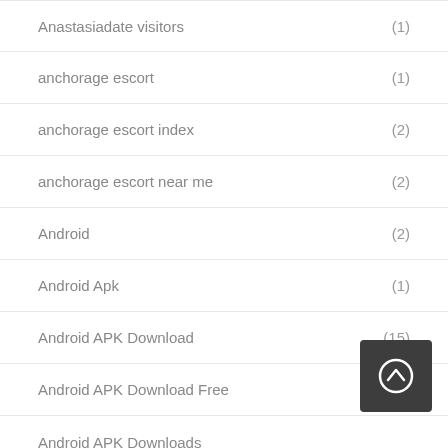Anastasiadate visitors (1)
anchorage escort (1)
anchorage escort index (2)
anchorage escort near me (2)
Android (2)
Android Apk (1)
Android APK Download (15)
Android APK Download Free (1)
Android APK Downloads
Android APK Free Download... (1)